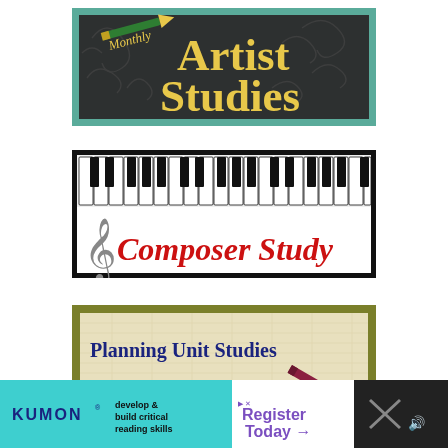[Figure (illustration): Monthly Artist Studies banner with teal border, dark background with swirl patterns, yellow/gold bold text reading 'Artist Studies' and italic 'Monthly' with pencil/arrow graphic]
[Figure (illustration): Composer Study banner with black border, piano keyboard graphic on top strip, treble clef symbol and red italic script text reading 'Composer Study' on white background]
[Figure (illustration): Planning Unit Studies How-To banner with olive green border, textured tan/cream background, navy text 'Planning Unit Studies' and italic 'How-To' with pencil graphic]
[Figure (illustration): Kumon advertisement banner at bottom: teal section with KUMON logo and 'develop & build critical reading skills', white section with 'Register Today' arrow button in purple, dark close button]